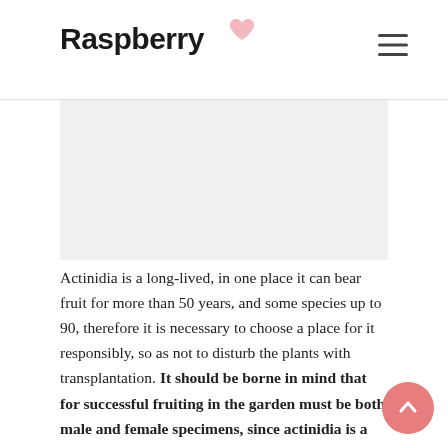Raspberry
Actinidia is a long-lived, in one place it can bear fruit for more than 50 years, and some species up to 90, therefore it is necessary to choose a place for it responsibly, so as not to disturb the plants with transplantation. It should be borne in mind that for successful fruiting in the garden must be both male and female specimens, since actinidia is a dioecious plant and requires cross-pollination. The optimal ratio: 1 male for 5-7 women. For this creeper, you will need a support, most often it is a trellis of the type of